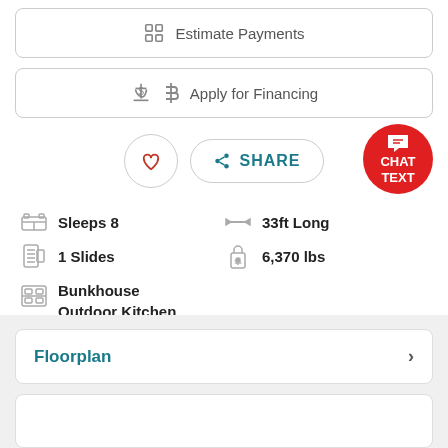Estimate Payments
Apply for Financing
[Figure (screenshot): Heart (favorite) button and Share button, with a red Chat/Text bubble in the corner]
Sleeps 8
33ft Long
1 Slides
6,370 lbs
Bunkhouse
Outdoor Kitchen
Floorplan